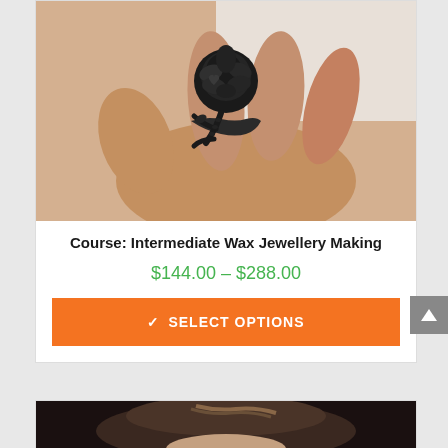[Figure (photo): Close-up photo of a hand holding a dark oxidized silver rose-shaped ring with branch and thorn details]
Course: Intermediate Wax Jewellery Making
$144.00 – $288.00
✓ SELECT OPTIONS
[Figure (photo): Partial photo of a person, likely an instructor, showing the top of their head with brown hair]